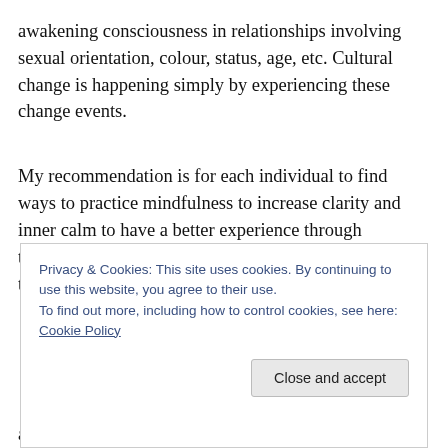awakening consciousness in relationships involving sexual orientation, colour, status, age, etc. Cultural change is happening simply by experiencing these change events.
My recommendation is for each individual to find ways to practice mindfulness to increase clarity and inner calm to have a better experience through transitional changes. I am referring to actions to reduce the clutter of words
Privacy & Cookies: This site uses cookies. By continuing to use this website, you agree to their use.
To find out more, including how to control cookies, see here: Cookie Policy
abilities and increase mental, emotional and physical